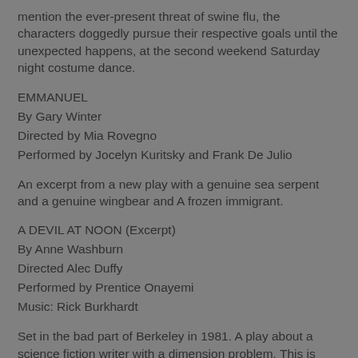mention the ever-present threat of swine flu, the characters doggedly pursue their respective goals until the unexpected happens, at the second weekend Saturday night costume dance.
EMMANUEL
By Gary Winter
Directed by Mia Rovegno
Performed by Jocelyn Kuritsky and Frank De Julio
An excerpt from a new play with a genuine sea serpent and a genuine wingbear and A frozen immigrant.
A DEVIL AT NOON (Excerpt)
By Anne Washburn
Directed Alec Duffy
Performed by Prentice Onayemi
Music: Rick Burkhardt
Set in the bad part of Berkeley in 1981. A play about a science fiction writer with a dimension problem. This is